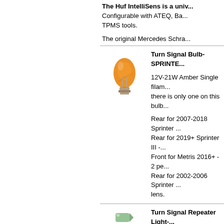The Huf IntelliSens is a univ... Configurable with ATEQ, Ba... TPMS tools.
The original Mercedes Schra...
[Figure (photo): Orange amber single filament turn signal bulb with bayonet base]
Turn Signal Bulb-SPRINTE...
12V-21W Amber Single filam... there is only one on this bulb...
Rear for 2007-2018 Sprinter ...
Rear for 2019+ Sprinter III -...
Front for Metris 2016+ - 2 pe...
Rear for 2002-2006 Sprinter ... lens.
[Figure (photo): Small turn signal repeater light assembly icon]
Turn Signal Repeater Light-...
Located on front fenders.
See amber bulb for this unit ...
[Figure (photo): Black washer spray jet nozzle part]
Washer Spray Jet-Left or Rig...
Fits left or right. Three smal... The small hose is not availab...
If you are purchasing new wi...